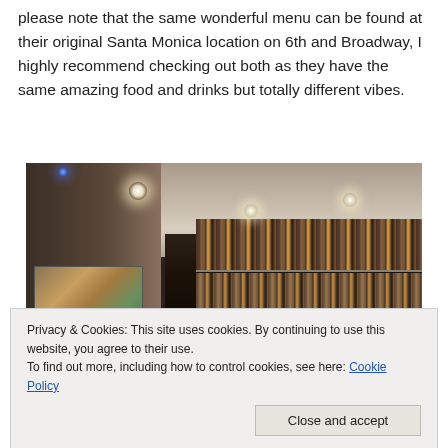please note that the same wonderful menu can be found at their original Santa Monica location on 6th and Broadway, I highly recommend checking out both as they have the same amazing food and drinks but totally different vibes.
[Figure (photo): Interior of a bar/restaurant showing a ceiling with recessed lights, a left wall with colorful artwork, and shelves stocked with many bottles of liquor against a dark background.]
Privacy & Cookies: This site uses cookies. By continuing to use this website, you agree to their use.
To find out more, including how to control cookies, see here: Cookie Policy
[Figure (photo): Bottom portion of a photo showing food dishes on a table, partially visible.]